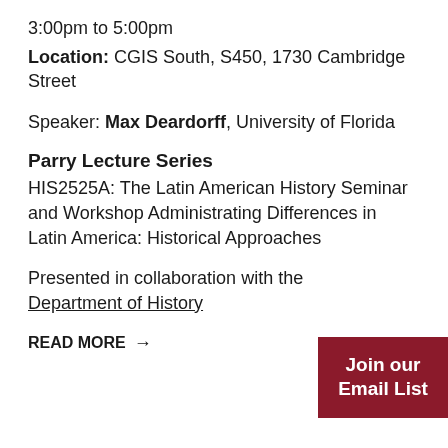3:00pm to 5:00pm
Location: CGIS South, S450, 1730 Cambridge Street
Speaker: Max Deardorff, University of Florida
Parry Lecture Series
HIS2525A: The Latin American History Seminar and Workshop Administrating Differences in Latin America: Historical Approaches
Presented in collaboration with the Department of History
READ MORE →
Join our Email List